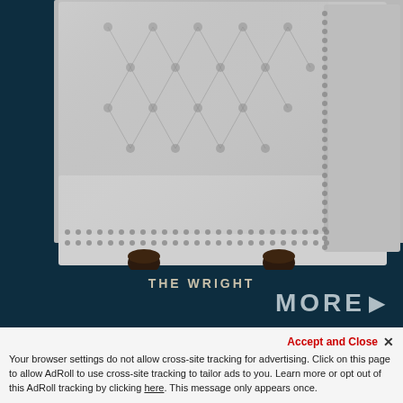[Figure (photo): Close-up photo of a silver/grey tufted leather Chesterfield sofa with nailhead trim detail and dark wooden feet, photographed against a dark teal background.]
THE WRIGHT
MORE ▶
Accept and Close ✕
Your browser settings do not allow cross-site tracking for advertising. Click on this page to allow AdRoll to use cross-site tracking to tailor ads to you. Learn more or opt out of this AdRoll tracking by clicking here. This message only appears once.